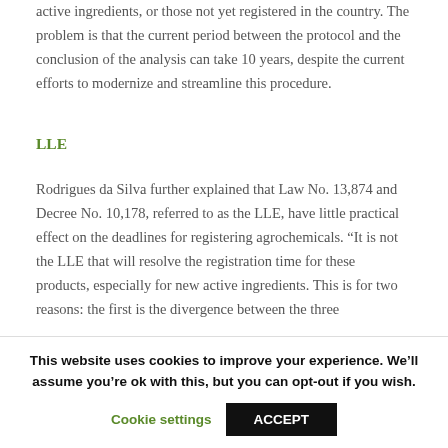active ingredients, or those not yet registered in the country. The problem is that the current period between the protocol and the conclusion of the analysis can take 10 years, despite the current efforts to modernize and streamline this procedure.
LLE
Rodrigues da Silva further explained that Law No. 13,874 and Decree No. 10,178, referred to as the LLE, have little practical effect on the deadlines for registering agrochemicals. “It is not the LLE that will resolve the registration time for these products, especially for new active ingredients. This is for two reasons: the first is the divergence between the three
This website uses cookies to improve your experience. We’ll assume you’re ok with this, but you can opt-out if you wish.
Cookie settings
ACCEPT